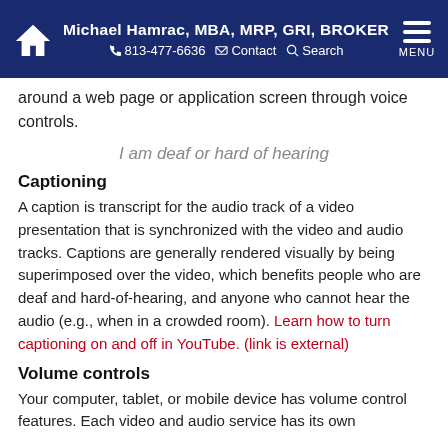Michael Hamrac, MBA, MRP, GRI, BROKER | 813-477-6636 | Contact | Search | MENU
around a web page or application screen through voice controls.
I am deaf or hard of hearing
Captioning
A caption is transcript for the audio track of a video presentation that is synchronized with the video and audio tracks. Captions are generally rendered visually by being superimposed over the video, which benefits people who are deaf and hard-of-hearing, and anyone who cannot hear the audio (e.g., when in a crowded room). Learn how to turn captioning on and off in YouTube. (link is external)
Volume controls
Your computer, tablet, or mobile device has volume control features. Each video and audio service has its own